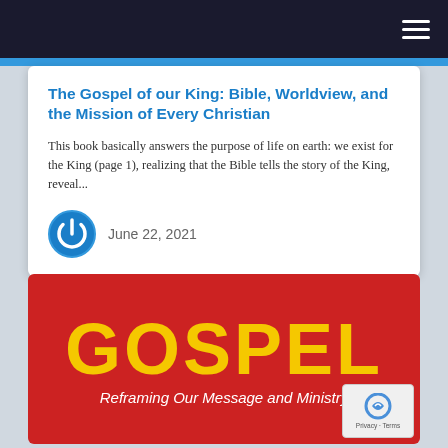The Gospel of our King: Bible, Worldview, and the Mission of Every Christian
This book basically answers the purpose of life on earth: we exist for the King (page 1), realizing that the Bible tells the story of the King, reveal...
June 22, 2021
[Figure (illustration): Red banner with large yellow bold text reading GOSPEL and white italic subtitle 'Reframing Our Message and Ministry']